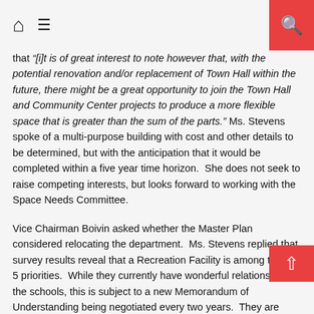Home | Menu | Search
that “[i]t is of great interest to note however that, with the potential renovation and/or replacement of Town Hall within the future, there might be a great opportunity to join the Town Hall and Community Center projects to produce a more flexible space that is greater than the sum of the parts.” Ms. Stevens spoke of a multi-purpose building with cost and other details to be determined, but with the anticipation that it would be completed within a five year time horizon. She does not seek to raise competing interests, but looks forward to working with the Space Needs Committee.
Vice Chairman Boivin asked whether the Master Plan considered relocating the department. Ms. Stevens replied that survey results reveal that a Recreation Facility is among the top 5 priorities. While they currently have wonderful relations with the schools, this is subject to a new Memorandum of Understanding being negotiated every two years. They are working out of two modular units with less than 2000 sq. ft. available for their programs. A temporary septic replacement had